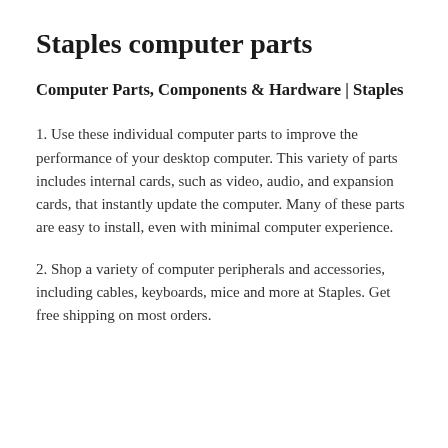Staples computer parts
Computer Parts, Components & Hardware | Staples
1. Use these individual computer parts to improve the performance of your desktop computer. This variety of parts includes internal cards, such as video, audio, and expansion cards, that instantly update the computer. Many of these parts are easy to install, even with minimal computer experience.
2. Shop a variety of computer peripherals and accessories, including cables, keyboards, mice and more at Staples. Get free shipping on most orders.